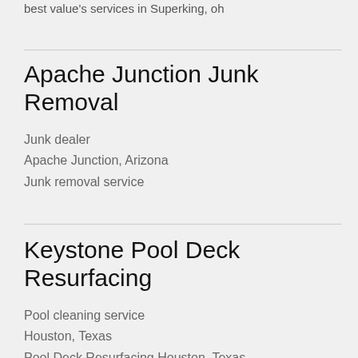best value's services in Superking, oh
Apache Junction Junk Removal
Junk dealer
Apache Junction, Arizona
Junk removal service
Keystone Pool Deck Resurfacing
Pool cleaning service
Houston, Texas
Pool Deck Resurfacing Houston, Texas